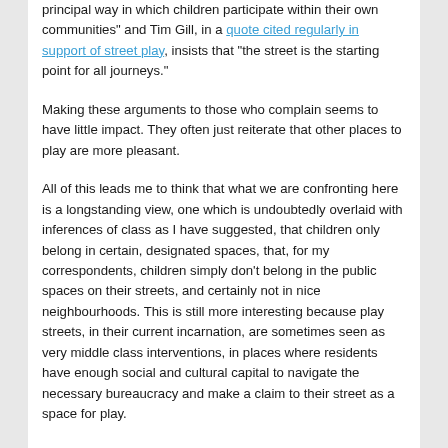principal way in which children participate within their own communities" and Tim Gill, in a quote cited regularly in support of street play, insists that "the street is the starting point for all journeys."
Making these arguments to those who complain seems to have little impact. They often just reiterate that other places to play are more pleasant.
All of this leads me to think that what we are confronting here is a longstanding view, one which is undoubtedly overlaid with inferences of class as I have suggested, that children only belong in certain, designated spaces, that, for my correspondents, children simply don't belong in the public spaces on their streets, and certainly not in nice neighbourhoods. This is still more interesting because play streets, in their current incarnation, are sometimes seen as very middle class interventions, in places where residents have enough social and cultural capital to navigate the necessary bureaucracy and make a claim to their street as a space for play.